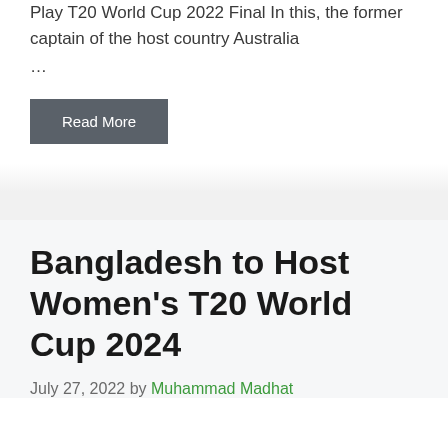Play T20 World Cup 2022 Final In this, the former captain of the host country Australia
...
Read More
Bangladesh to Host Women’s T20 World Cup 2024
July 27, 2022 by Muhammad Madhat